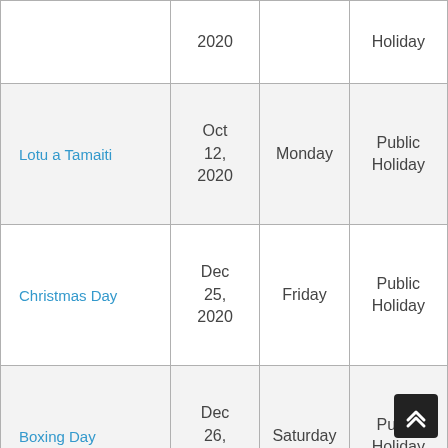| Holiday | Date | Day | Type |
| --- | --- | --- | --- |
|  | 2020 |  | Holiday |
| Lotu a Tamaiti | Oct 12, 2020 | Monday | Public Holiday |
| Christmas Day | Dec 25, 2020 | Friday | Public Holiday |
| Boxing Day | Dec 26, 2020 | Saturday | Public Holiday |
| Christmas Day Holiday | Dec 28, | Monday | Observed |